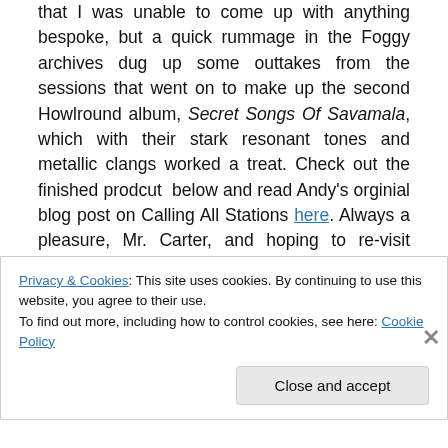that I was unable to come up with anything bespoke, but a quick rummage in the Foggy archives dug up some outtakes from the sessions that went on to make up the second Howlround album, Secret Songs Of Savamala, which with their stark resonant tones and metallic clangs worked a treat. Check out the finished prodcut below and read Andy's orginial blog post on Calling All Stations here. Always a pleasure, Mr. Carter, and hoping to re-visit Aldwych station myself at some point. Last time I went there was for a rave in the
Privacy & Cookies: This site uses cookies. By continuing to use this website, you agree to their use.
To find out more, including how to control cookies, see here: Cookie Policy
Close and accept